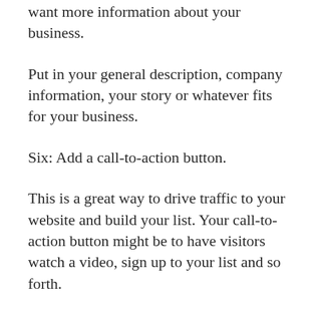want more information about your business.
Put in your general description, company information, your story or whatever fits for your business.
Six: Add a call-to-action button.
This is a great way to drive traffic to your website and build your list. Your call-to-action button might be to have visitors watch a video, sign up to your list and so forth.
Seven: Post often, but not too often.
If you don't post for months at a time, then your business does not look